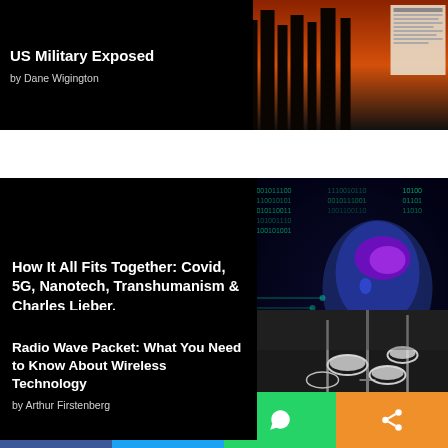[Figure (illustration): Article card with dark forest/fire background image. Title: US Military Exposed, by Dane Wigington]
US Military Exposed
by Dane Wigington
[Figure (illustration): Article card with digital brain/5G background image. Title: How It All Fits Together: Covid, 5G, Nanotech, Transhumanism & Charles Lieber. by Maryam Henein]
How It All Fits Together: Covid, 5G, Nanotech, Transhumanism & Charles Lieber.
by Maryam Henein
[Figure (illustration): Article card with wireless antenna towers background image. Title: Radio Wave Packet: What You Need to Know About Wireless Technology, by Arthur Firstenberg]
Radio Wave Packet: What You Need to Know About Wireless Technology
by Arthur Firstenberg
Facebook | Twitter | WhatsApp | Share